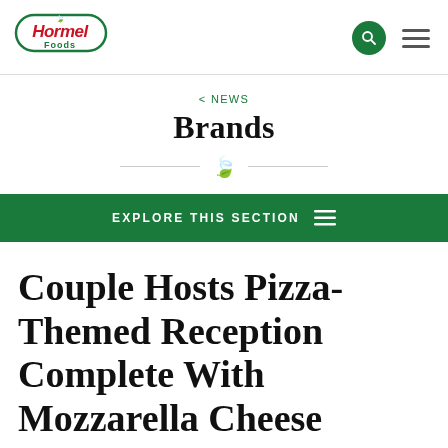[Figure (logo): Hormel Foods logo: red italic 'Hormel' text with green 'Foods' below, inside a green rounded rectangle border with small green leaf icon]
< NEWS
Brands
EXPLORE THIS SECTION
Couple Hosts Pizza-Themed Reception Complete With Mozzarella Cheese Fountain